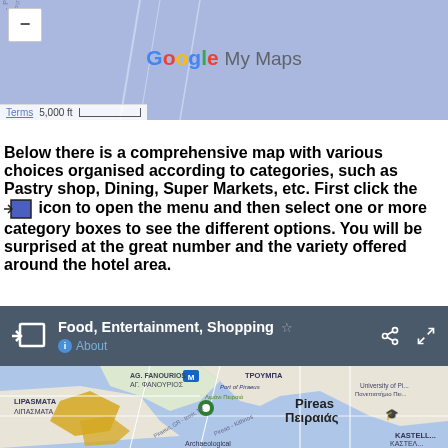[Figure (screenshot): Top portion of Google My Maps showing a map of the Piraeus area with blue-grey background, zoom controls, Google My Maps logo, and a scale bar showing 5,000 ft]
Below there is a comprehensive map with various choices organised according to categories, such as Pastry shop, Dining, Super Markets, etc. First click the [icon] icon to open the menu and then select one or more category boxes to see the different options. You will be surprised at the great number and the variety offered around the hotel area.
[Figure (screenshot): Google My Maps interface bar showing title 'Food, Entertainment, Shopping' with star, share, and fullscreen icons, plus About link. Below is a map of Piraeus/Πειραιάς showing Port of Piraeus, AG. FANOURIOS, LIPASMATA, TROMBA, University of Piraeus areas with street layout in blue and beige tones.]